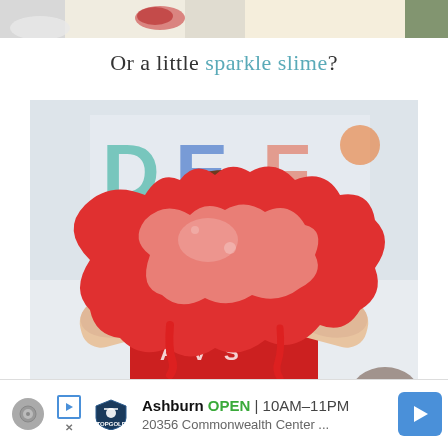[Figure (photo): Top strip showing partial images of food or crafts items, cropped at top of page]
Or a little sparkle slime?
[Figure (photo): Child in red shirt holding up a large piece of red slime stretched wide in front of their face, with colorful letters on a board in the background]
[Figure (other): Advertisement banner for TopGolf Ashburn showing OPEN 10AM-11PM, 20356 Commonwealth Center...]